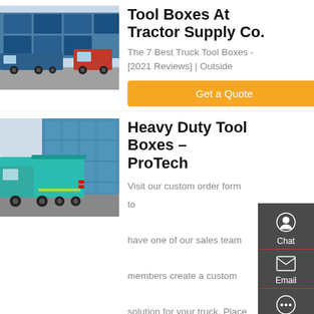[Figure (photo): Two heavy trucks with blue cargo containers parked in a yard]
Tool Boxes At Tractor Supply Co.
The 7 Best Truck Tool Boxes - [2021 Reviews] | Outside
Get a Quote
[Figure (photo): Teal/turquoise heavy duty dump truck parked in front of a glass building]
Heavy Duty Tool Boxes – ProTech
Visit our custom order form to have one of our sales team members create a custom solution for your truck. Place an order. Heavy Duty Truck Cab Racks. Heavy Duty Tool Boxes.